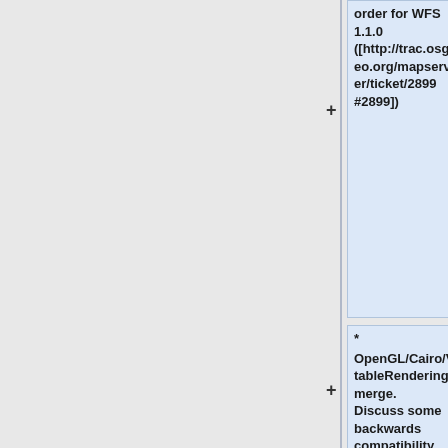order for WFS 1.1.0 ([http://trac.osgeo.org/mapserver/ticket/2899 #2899])
* OpenGL/Cairo/VtableRendering merge. Discuss some backwards compatibility changes implied by the rendering unification (notably on symbol orientation, and linestring markers)